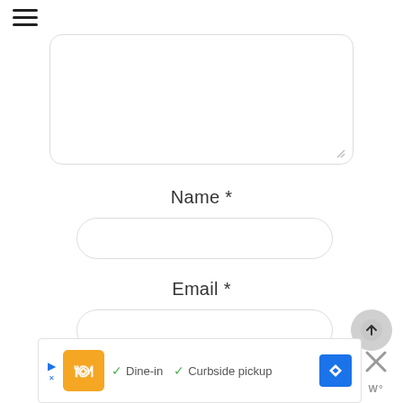[Figure (screenshot): Hamburger menu icon (three horizontal lines) in top-left corner]
[Figure (screenshot): Large rounded-rectangle textarea input box, empty, with resize handle in bottom-right corner]
Name *
[Figure (screenshot): Rounded rectangle text input field for Name]
Email *
[Figure (screenshot): Rounded rectangle text input field for Email with an upload/submit circular button on the right]
[Figure (screenshot): Ad banner at the bottom: restaurant logo, Dine-in and Curbside pickup checkmarks, map navigation icon, close X button with wp logo]